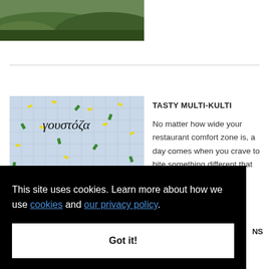[Figure (photo): Partial view of a green hillside landscape photo at the top of the page]
[Figure (illustration): Colorful illustration showing a person riding on top of a large hippo-like creature, with Greek text 'γουστόζα' and scattered yellow and green confetti-like shapes on a light blue background]
TASTY MULTI-KULTI
No matter how wide your restaurant comfort zone is, a day comes when you crave to bite something different that
This site uses cookies. Learn more about how we use cookies and our privacy policy.
Got it!
NS
How are you going to mark